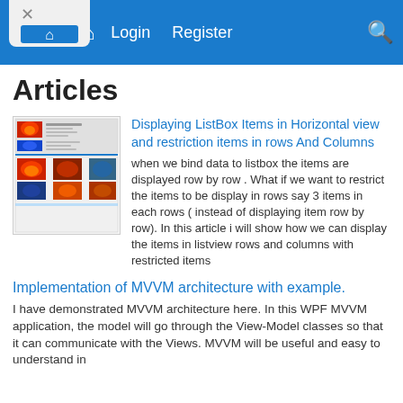Login  Register
Articles
[Figure (screenshot): Screenshot of a WPF ListBox with images displayed in rows and columns]
Displaying ListBox Items in Horizontal view and restriction items in rows And Columns
when we bind data to listbox the items are displayed row by row . What if we want to restrict the items to be display in rows say 3 items in each rows ( instead of displaying item row by row). In this article i will show how we can display the items in listview rows and columns with restricted items
Implementation of MVVM architecture with example.
I have demonstrated MVVM architecture here. In this WPF MVVM application, the model will go through the View-Model classes so that it can communicate with the Views. MVVM will be useful and easy to understand in